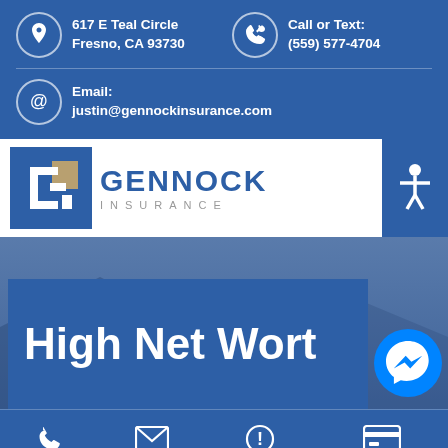617 E Teal Circle
Fresno, CA 93730
Call or Text:
(559) 577-4704
Email:
justin@gennockinsurance.com
[Figure (logo): Gennock Insurance logo with blue square icon and company name]
High Net Worth
[Figure (infographic): Facebook Messenger chat bubble icon]
Call
Email
Claims
Payments